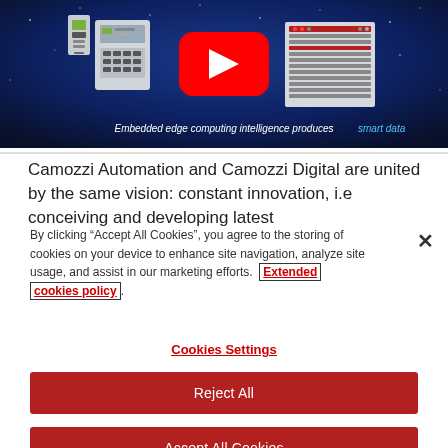[Figure (screenshot): Video thumbnail with dark blue background showing industrial devices (edge computing hardware), a YouTube play button in the center, and subtitle text 'Embedded edge computing intelligence produces smart data']
Camozzi Automation and Camozzi Digital are united by the same vision: constant innovation, i.e conceiving and developing latest
By clicking “Accept All Cookies”, you agree to the storing of cookies on your device to enhance site navigation, analyze site usage, and assist in our marketing efforts. Extended cookies policy.
Cookies Settings
Reject All
Accept All Cookies